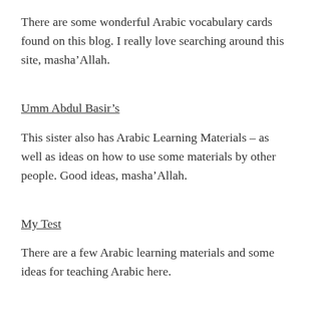There are some wonderful Arabic vocabulary cards found on this blog. I really love searching around this site, masha’Allah.
Umm Abdul Basir’s
This sister also has Arabic Learning Materials – as well as ideas on how to use some materials by other people. Good ideas, masha’Allah.
My Test
There are a few Arabic learning materials and some ideas for teaching Arabic here.
Sugarcake Diary